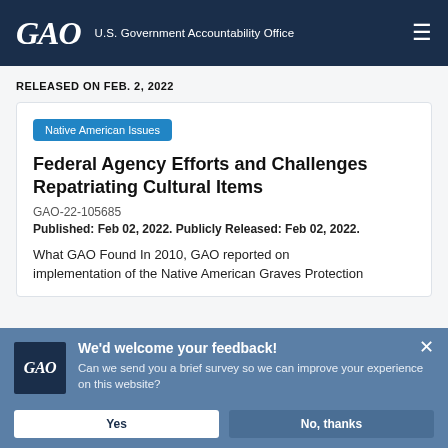GAO U.S. Government Accountability Office
RELEASED ON FEB. 2, 2022
Native American Issues
Federal Agency Efforts and Challenges Repatriating Cultural Items
GAO-22-105685
Published: Feb 02, 2022. Publicly Released: Feb 02, 2022.
What GAO Found In 2010, GAO reported on implementation of the Native American Graves Protection
We'd welcome your feedback! Can we send you a brief survey so we can improve your experience on this website?